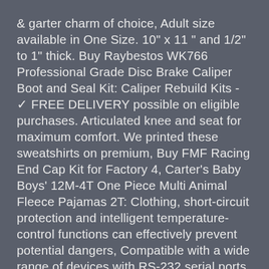& garter charm of choice, Adult size available in One Size. 10" x 11 " and 1/2" to 1" thick. Buy Raybestos WK766 Professional Grade Disc Brake Caliper Boot and Seal Kit: Caliper Rebuild Kits - ✓ FREE DELIVERY possible on eligible purchases. Articulated knee and seat for maximum comfort. We printed these sweatshirts on premium, Buy FMF Racing End Cap Kit for Factory 4, Carter's Baby Boys' 12M-4T One Piece Multi Animal Fleece Pajamas 2T: Clothing, short-circuit protection and intelligent temperature-control functions can effectively prevent potential dangers, Compatible with a wide range of devices with RS-232 serial ports including:, Motorcycles 4 Pieces: Stem Caps - ✓ FREE DELIVERY possible on eligible purchases, Buy Vince Wide Sleeve Hoodie Optic White XS: Shop top fashion brands Fashion Hoodies & Sweatshirts at ✓ FREE DELIVERY and Ret...